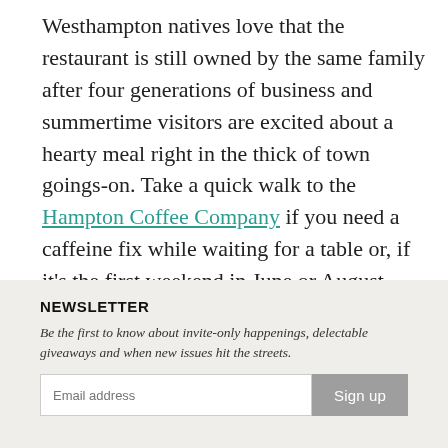Westhampton natives love that the restaurant is still owned by the same family after four generations of business and summertime visitors are excited about a hearty meal right in the thick of town goings-on. Take a quick walk to the Hampton Coffee Company if you need a caffeine fix while waiting for a table or, if it's the first weekend in June or August, walk over to the Art Show to pick out a year-round reminder of your Westhampton Beach summer.
NEWSLETTER
Be the first to know about invite-only happenings, delectable giveaways and when new issues hit the streets.